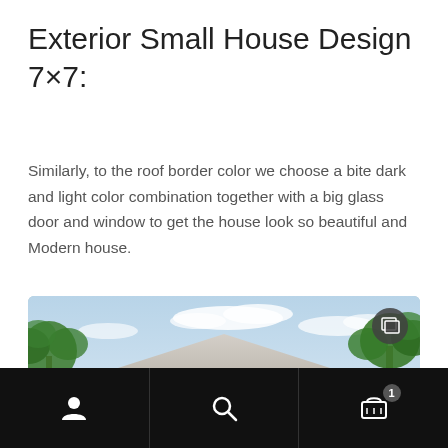Exterior Small House Design 7×7:
Similarly, to the roof border color we choose a bite dark and light color combination together with a big glass door and window to get the house look so beautiful and Modern house.
[Figure (photo): Exterior rendering of a modern small house with a hip roof, dark grey trim band, two garage doors, large glass windows, tropical palm trees and lush greenery flanking the structure under a partly cloudy sky.]
Navigation bar with user icon, search icon, and cart icon with badge showing 1